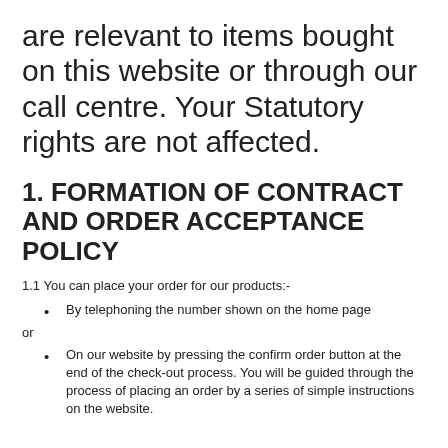are relevant to items bought on this website or through our call centre. Your Statutory rights are not affected.
1. FORMATION OF CONTRACT AND ORDER ACCEPTANCE POLICY
1.1 You can place your order for our products:-
By telephoning the number shown on the home page
or
On our website by pressing the confirm order button at the end of the check-out process. You will be guided through the process of placing an order by a series of simple instructions on the website.